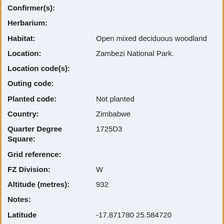| Field | Value |
| --- | --- |
| Confirmer(s): |  |
| Herbarium: |  |
| Habitat: | Open mixed deciduous woodland |
| Location: | Zambezi National Park. |
| Location code(s): |  |
| Outing code: |  |
| Planted code: | Not planted |
| Country: | Zimbabwe |
| Quarter Degree Square: | 1725D3 |
| Grid reference: |  |
| FZ Division: | W |
| Altitude (metres): | 932 |
| Notes: |  |
| Latitude | -17.871780  25.584720 |